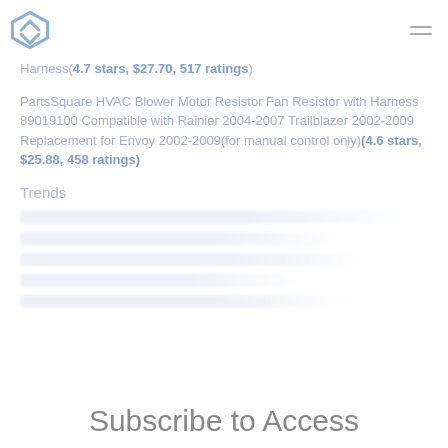[Logo and navigation menu]
Harness(4.7 stars, $27.70, 517 ratings)
PartsSquare HVAC Blower Motor Resistor Fan Resistor with Harness 89019100 Compatible with Rainier 2004-2007 Trailblazer 2002-2009 Replacement for Envoy 2002-2009(for manual control only)(4.6 stars, $25.88, 458 ratings)
Trends
[blurred/obscured trend content]
Subscribe to Access